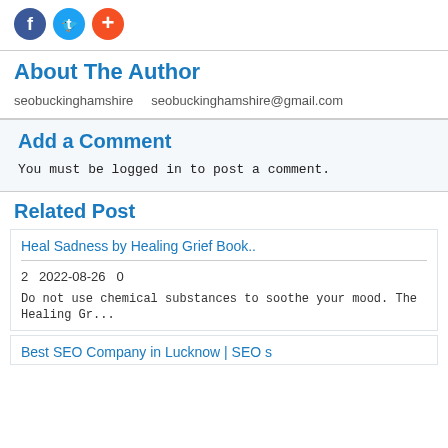[Figure (illustration): Three social media icon circles: Facebook (blue), Twitter (light blue), and Plus/share (orange-red)]
About The Author
seobuckinghamshire    seobuckinghamshire@gmail.com
Add a Comment
You must be logged in to post a comment.
Related Post
Heal Sadness by Healing Grief Book..
2   2022-08-26   0
Do not use chemical substances to soothe your mood. The Healing Gr...
Best SEO Company in Lucknow | SEO s